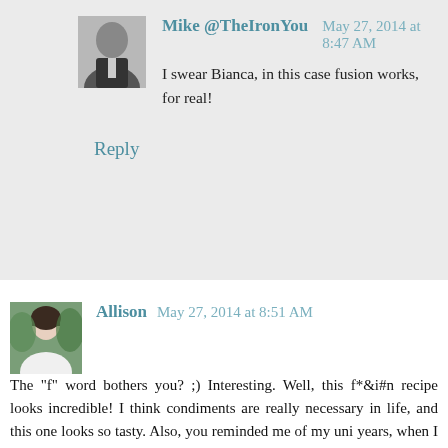Mike @TheIronYou   May 27, 2014 at 8:47 AM
I swear Bianca, in this case fusion works, for real!
Reply
Allison   May 27, 2014 at 8:51 AM
The "f" word bothers you? ;) Interesting. Well, this f*&i#n recipe looks incredible! I think condiments are really necessary in life, and this one looks so tasty. Also, you reminded me of my uni years, when I would walk past a shawarma place downtown on my way to the train home and the had a sign for Labm Shawarma. I think they meant lamb. Anyways, just thought I'd share that :)